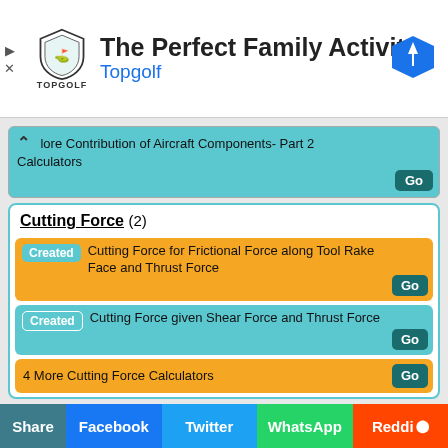[Figure (other): Topgolf advertisement banner with shield logo, text 'The Perfect Family Activity', 'Topgolf', and a navigation arrow icon on the right]
More Contribution of Aircraft Components- Part 2 Calculators  Go
Cutting Force (2)
Created  Cutting Force for Frictional Force along Tool Rake Face and Thrust Force  Go
Created  Cutting Force given Shear Force and Thrust Force  Go
4 More Cutting Force Calculators  Go
Cylinders (2)
Share  Facebook  Twitter  WhatsApp  Reddit